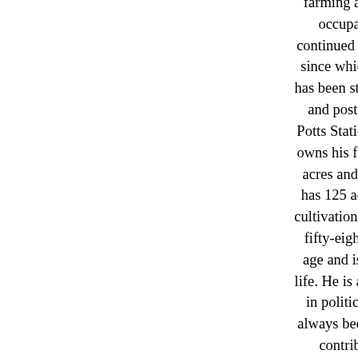farming and in this occupation he continued until 1872, since which time he has been station agent and postmaster at Potts Station. He still owns his farm of 200 acres and of this he has 125 acres under cultivation. He is now fifty-eight years of age and is single in life. He is a Democrat in politics and has always been a liberal contributor to schools, churches and, in fact, to all enterprises for the good of his country.